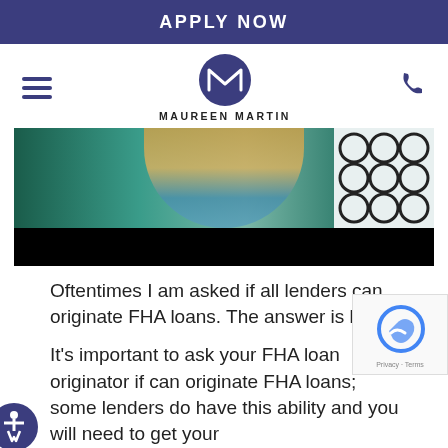APPLY NOW
[Figure (logo): Maureen Martin logo with circular M emblem and hamburger menu and phone icon navigation bar]
[Figure (photo): Screenshot of a video showing a woman with blonde hair, blurred, with a black bar at the bottom]
Oftentimes I am asked if all lenders can originate FHA loans. The answer is NO.
It’s important to ask your FHA loan originator if can originate FHA loans; some lenders do have this ability and you will need to get your